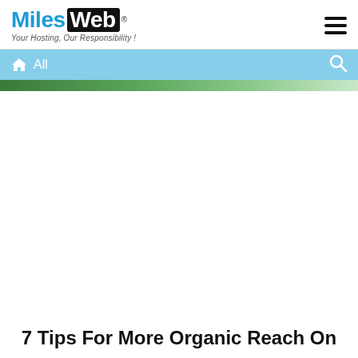[Figure (logo): MilesWeb logo with tagline 'Your Hosting, Our Responsibility!']
All
[Figure (photo): Partial green image strip at top of article]
7 Tips For More Organic Reach On